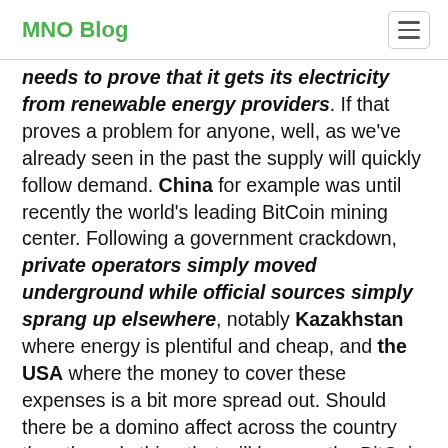MNO Blog
needs to prove that it gets its electricity from renewable energy providers. If that proves a problem for anyone, well, as we've already seen in the past the supply will quickly follow demand. China for example was until recently the world's leading BitCoin mining center. Following a government crackdown, private operators simply moved underground while official sources simply sprang up elsewhere, notably Kazakhstan where energy is plentiful and cheap, and the USA where the money to cover these expenses is a bit more spread out. Should there be a domino affect across the country then the only thing that will happen the BitCoin mining industry is that it will follow the